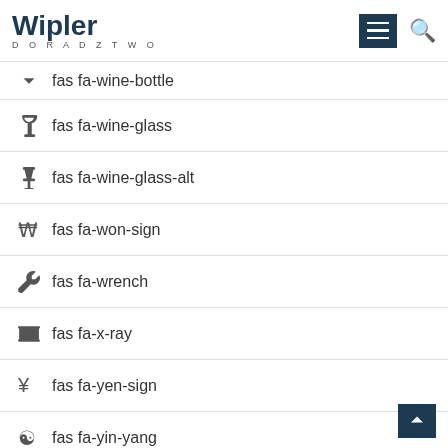Wipler DORADZTWO
fas fa-wine-bottle
fas fa-wine-glass
fas fa-wine-glass-alt
fas fa-won-sign
fas fa-wrench
fas fa-x-ray
fas fa-yen-sign
fas fa-yin-yang